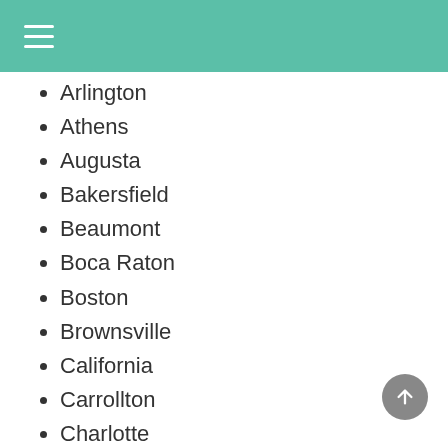Navigation menu header bar
Arlington
Athens
Augusta
Bakersfield
Beaumont
Boca Raton
Boston
Brownsville
California
Carrollton
Charlotte
Chula Vista
Clearwater
College Station
Colorado
Connecticut
Corpus Christi